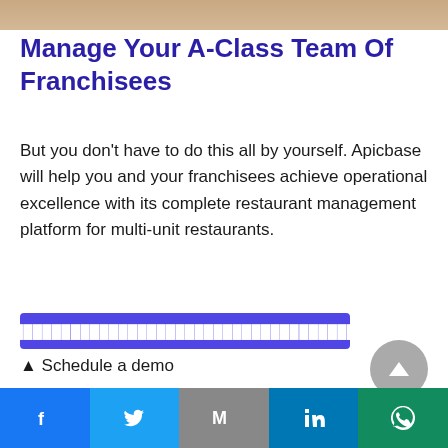[Figure (photo): Cropped photo of food/restaurant scene at top of page]
Manage Your A-Class Team Of Franchisees
But you don't have to do this all by yourself. Apicbase will help you and your franchisees achieve operational excellence with its complete restaurant management platform for multi-unit restaurants.
[Request a demo / free trial CTA button - blue]
▲ Schedule a demo
Social share bar: Facebook, Twitter, Gmail, LinkedIn, WhatsApp